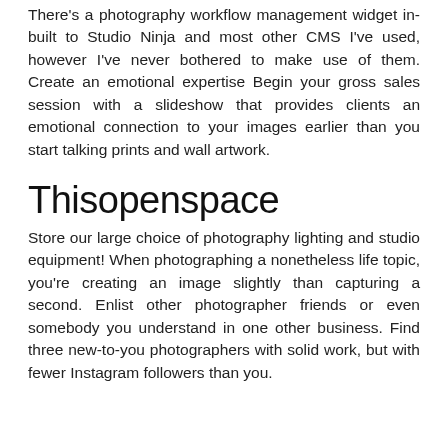There's a photography workflow management widget in-built to Studio Ninja and most other CMS I've used, however I've never bothered to make use of them. Create an emotional expertise Begin your gross sales session with a slideshow that provides clients an emotional connection to your images earlier than you start talking prints and wall artwork.
Thisopenspace
Store our large choice of photography lighting and studio equipment! When photographing a nonetheless life topic, you're creating an image slightly than capturing a second. Enlist other photographer friends or even somebody you understand in one other business. Find three new-to-you photographers with solid work, but with fewer Instagram followers than you.